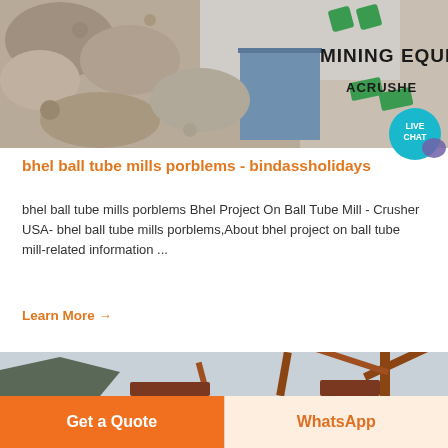[Figure (photo): Mining equipment — crushed rock and industrial building with MINING EQUIPMENT ACRUSHER banner and logo]
bhel ball tube mills porblems - bindassholidays
bhel ball tube mills porblems Bhel Project On Ball Tube Mill - Crusher USA- bhel ball tube mills porblems,About bhel project on ball tube mill-related information ...
Learn More →
[Figure (photo): Mining/crushing equipment machinery with conveyor and crane structures against overcast sky with mountain in background]
Get a Quote
WhatsApp